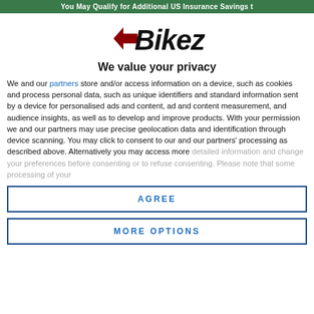You May Qualify for Additional US Insurance Savings t
[Figure (logo): Bikez logo with stylized italic text and dark red arrow motif]
We value your privacy
We and our partners store and/or access information on a device, such as cookies and process personal data, such as unique identifiers and standard information sent by a device for personalised ads and content, ad and content measurement, and audience insights, as well as to develop and improve products. With your permission we and our partners may use precise geolocation data and identification through device scanning. You may click to consent to our and our partners' processing as described above. Alternatively you may access more detailed information and change your preferences before consenting or to refuse consenting. Please note that some processing of your
AGREE
MORE OPTIONS